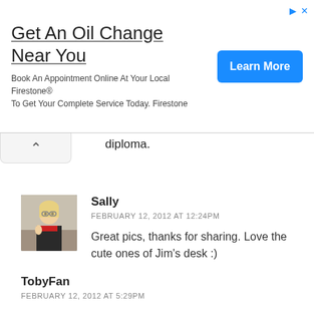[Figure (screenshot): Advertisement banner for Firestone oil change service with a 'Learn More' blue button and ad icons in top right]
diploma.
[Figure (photo): Avatar photo of Sally - a woman with blonde hair and a red scarf]
Sally
FEBRUARY 12, 2012 AT 12:24PM
Great pics, thanks for sharing. Love the cute ones of Jim's desk :)
TobyFan
FEBRUARY 12, 2012 AT 5:29PM